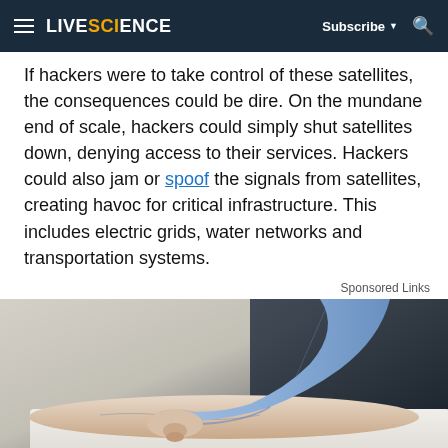LIVESCIENCE | Subscribe | Search
If hackers were to take control of these satellites, the consequences could be dire. On the mundane end of scale, hackers could simply shut satellites down, denying access to their services. Hackers could also jam or spoof the signals from satellites, creating havoc for critical infrastructure. This includes electric grids, water networks and transportation systems.
Sponsored Links
[Figure (photo): A medical professional in a blue shirt pressing a finger onto a patient's forearm, which is resting on a white cloth or pillow.]